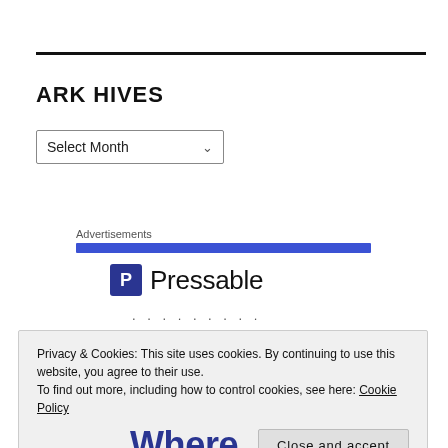ARK HIVES
Select Month
Advertisements
[Figure (logo): Pressable logo with blue square P icon and text 'Pressable']
. . . . . . . . .
Privacy & Cookies: This site uses cookies. By continuing to use this website, you agree to their use.
To find out more, including how to control cookies, see here: Cookie Policy
Close and accept
Where